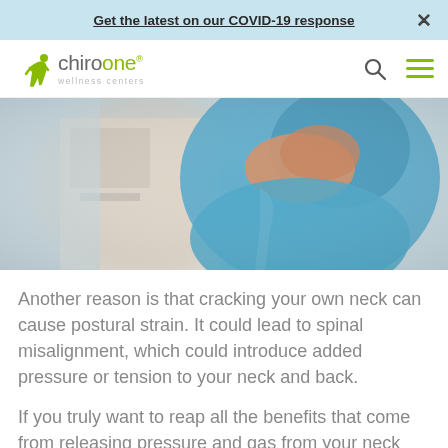Get the latest on our COVID-19 response  ×
[Figure (logo): ChiroOne Wellness Centers logo with stylized green figure]
[Figure (photo): Person in blue shirt holding their lower back/neck, blurred indoor background]
Another reason is that cracking your own neck can cause postural strain. It could lead to spinal misalignment, which could introduce added pressure or tension to your neck and back.
If you truly want to reap all the benefits that come from releasing pressure and gas from your neck joint, see a chiropractor and get a